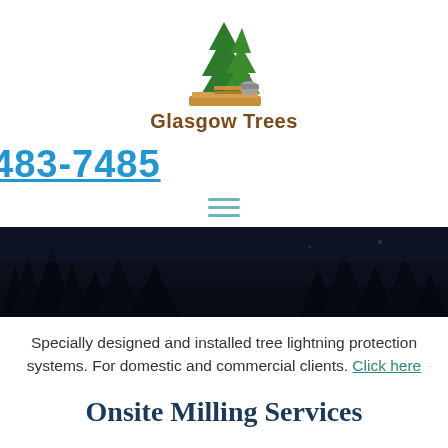[Figure (logo): Glasgow Trees logo with green pine trees and a wood milling machine on a brown base]
Glasgow Trees
483-7485
[Figure (illustration): Hamburger menu icon with three horizontal lines in teal/cyan color]
[Figure (photo): Dark nighttime photo showing silhouettes of trees against a dark blue-black sky]
Specially designed and installed tree lightning protection systems. For domestic and commercial clients. Click here
Onsite Milling Services